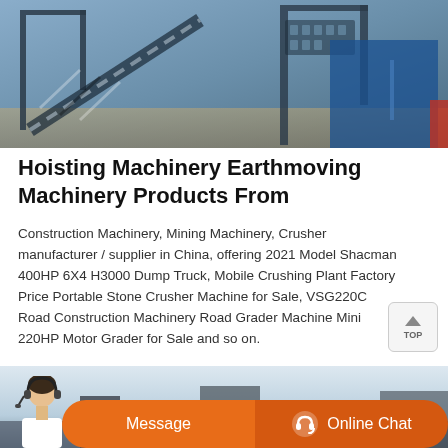[Figure (photo): Aerial or ground-level photo of hoisting/earthmoving machinery equipment at a construction or mining site, with metal framework, conveyor elements, and industrial structures visible.]
Hoisting Machinery Earthmoving Machinery Products From
Construction Machinery, Mining Machinery, Crusher manufacturer / supplier in China, offering 2021 Model Shacman 400HP 6X4 H3000 Dump Truck, Mobile Crushing Plant Factory Price Portable Stone Crusher Machine for Sale, VSG220C Road Construction Machinery Road Grader Machine Mini 220HP Motor Grader for Sale and so on.
[Figure (photo): Partial view of earthmoving or construction machinery in the lower portion of the page, sky background visible, with an agent/customer service representative image overlaid at the bottom left.]